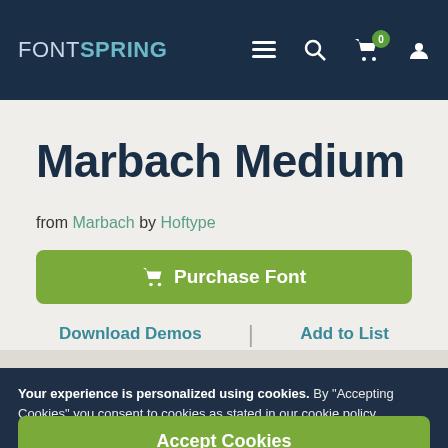FONTSPRING — navigation bar with menu, search, cart (0), account icons
Marbach Medium
from Marbach by Hoftype
Purchase Font
Download Demos | Add to List
Your experience is personalized using cookies. By "Accepting Cookies" you consent to cookies as stated in our cookie policy.
Accept Cookies